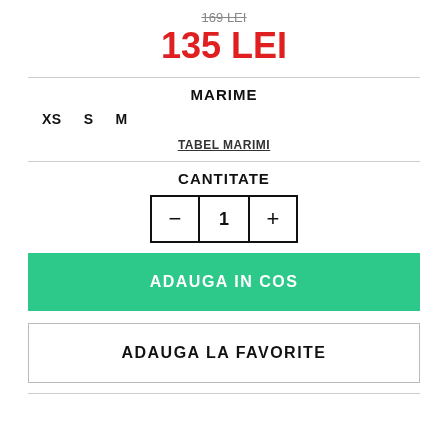169 LEI (strikethrough)
135 LEI
MARIME
XS
S
M
TABEL MARIMI
CANTITATE
- 1 +
ADAUGA IN COS
ADAUGA LA FAVORITE